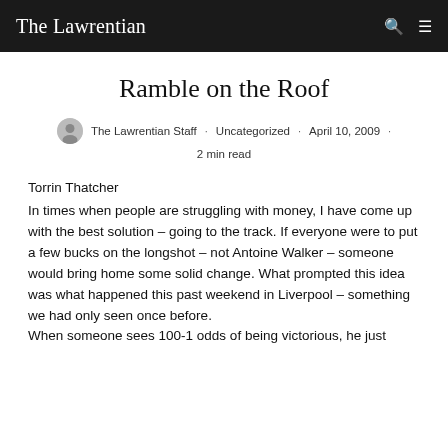The Lawrentian
Ramble on the Roof
The Lawrentian Staff · Uncategorized · April 10, 2009 · 2 min read
Torrin Thatcher
In times when people are struggling with money, I have come up with the best solution – going to the track. If everyone were to put a few bucks on the longshot – not Antoine Walker – someone would bring home some solid change. What prompted this idea was what happened this past weekend in Liverpool – something we had only seen once before.
When someone sees 100-1 odds of being victorious, he just...